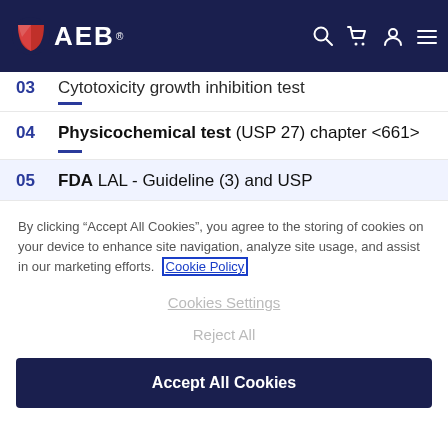AEB navigation bar with logo, search, cart, user, and menu icons
03 Cytotoxicity growth inhibition test
04 Physicochemical test (USP 27) chapter <661>
05 FDA LAL - Guideline (3) and USP
By clicking “Accept All Cookies”, you agree to the storing of cookies on your device to enhance site navigation, analyze site usage, and assist in our marketing efforts. Cookie Policy
Cookies Settings
Reject All
Accept All Cookies